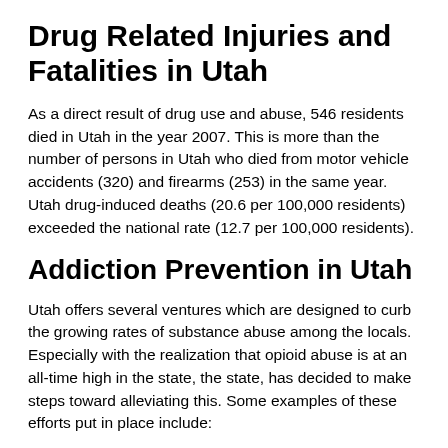Drug Related Injuries and Fatalities in Utah
As a direct result of drug use and abuse, 546 residents died in Utah in the year 2007. This is more than the number of persons in Utah who died from motor vehicle accidents (320) and firearms (253) in the same year. Utah drug-induced deaths (20.6 per 100,000 residents) exceeded the national rate (12.7 per 100,000 residents).
Addiction Prevention in Utah
Utah offers several ventures which are designed to curb the growing rates of substance abuse among the locals. Especially with the realization that opioid abuse is at an all-time high in the state, the state, has decided to make steps toward alleviating this. Some examples of these efforts put in place include:
a) Law Changes with Regard to Naloxone